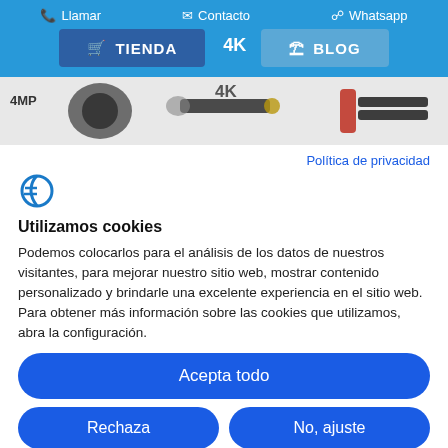Llamar  Contacto  Whatsapp
TIENDA  BLOG
[Figure (photo): Product banner showing camera and HDMI cables labeled 4MP and 4K]
Política de privacidad
[Figure (logo): Cookie consent logo - stylized C letter in blue]
Utilizamos cookies
Podemos colocarlos para el análisis de los datos de nuestros visitantes, para mejorar nuestro sitio web, mostrar contenido personalizado y brindarle una excelente experiencia en el sitio web. Para obtener más información sobre las cookies que utilizamos, abra la configuración.
Acepta todo
Rechaza
No, ajuste